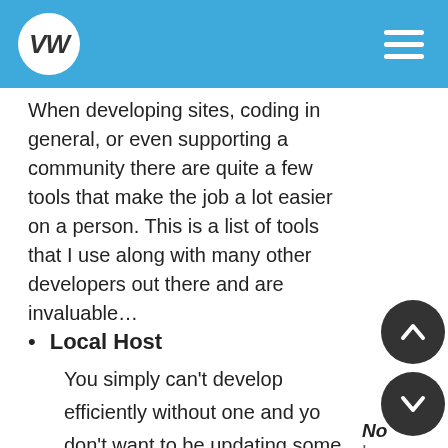VW [logo]
When developing sites, coding in general, or even supporting a community there are quite a few tools that make the job a lot easier on a person. This is a list of tools that I use along with many other developers out there and are invaluable…
Local Host
You simply can't develop efficiently without one and you don't want to be updating some clients site with out testing your code first. That's where a local host comes in and is extremely faster than using a test site on the web somewhere because there is no uploading or transferring of files.